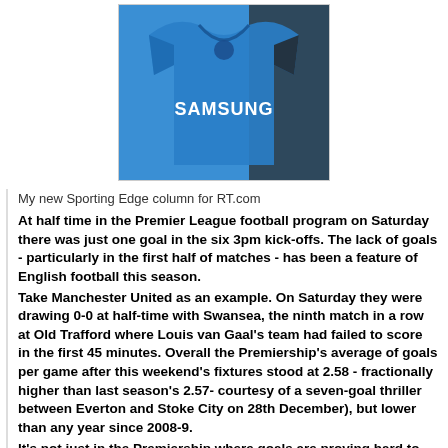[Figure (photo): Person holding a blue Chelsea FC Samsung jersey/shirt]
My new Sporting Edge column for RT.com
At half time in the Premier League football program on Saturday there was just one goal in the six 3pm kick-offs. The lack of goals - particularly in the first half of matches - has been a feature of English football this season.
Take Manchester United as an example. On Saturday they were drawing 0-0 at half-time with Swansea, the ninth match in a row at Old Trafford where Louis van Gaal's team had failed to score in the first 45 minutes. Overall the Premiership's average of goals per game after this weekend's fixtures stood at 2.58 - fractionally higher than last season's 2.57- courtesy of a seven-goal thriller between Everton and Stoke City on 28th December), but lower than any year since 2008-9.
It's not just in the Premiership where goals are proving hard to come by....